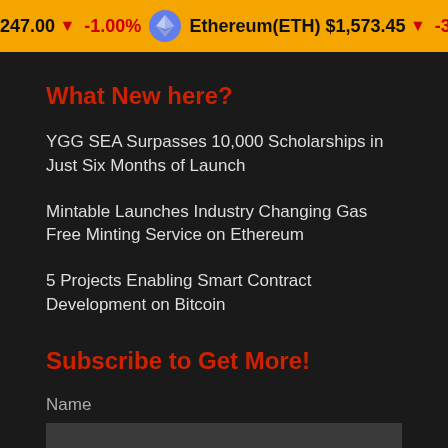247.00 ↓ -1.00%   Ethereum(ETH)  $1,573.45  ↓ -3.12%   Teth
What New here?
YGG SEA Surpasses 10,000 Scholarships in Just Six Months of Launch
Mintable Launches Industry Changing Gas Free Minting Service on Ethereum
5 Projects Enabling Smart Contract Development on Bitcoin
Subscribe to Get More!
Name